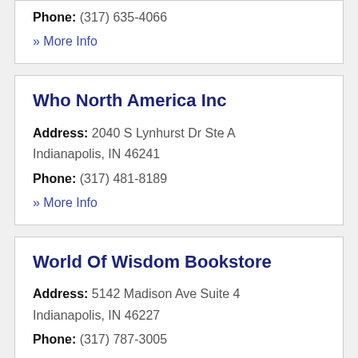Phone: (317) 635-4066
» More Info
Who North America Inc
Address: 2040 S Lynhurst Dr Ste A Indianapolis, IN 46241
Phone: (317) 481-8189
» More Info
World Of Wisdom Bookstore
Address: 5142 Madison Ave Suite 4 Indianapolis, IN 46227
Phone: (317) 787-3005
» More Info